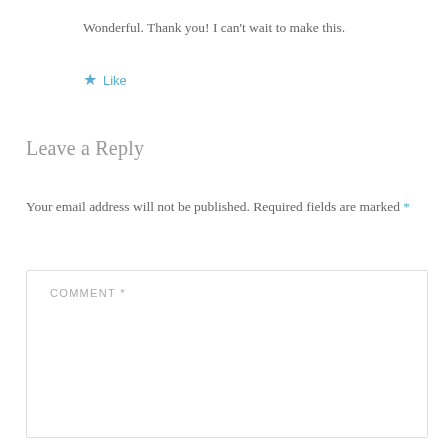Wonderful. Thank you! I can't wait to make this.
★ Like
Leave a Reply
Your email address will not be published. Required fields are marked *
COMMENT *